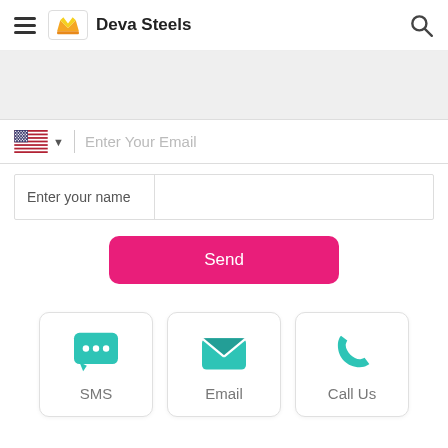Deva Steels
[Figure (screenshot): Gray banner placeholder area]
Enter Your Email
Enter your name
Send
[Figure (illustration): Three contact option cards: SMS (chat bubble icon), Email (envelope icon), Call Us (phone icon)]